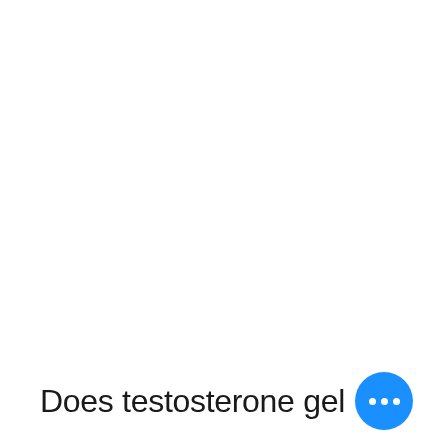Does testosterone gel
[Figure (other): Blue circular button with three white dots (ellipsis/more options button)]